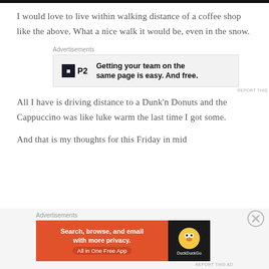I would love to live within walking distance of a coffee shop like the above. What a nice walk it would be, even in the snow.
[Figure (screenshot): P2 advertisement: Getting your team on the same page is easy. And free.]
All I have is driving distance to a Dunk'n Donuts and the Cappuccino was like luke warm the last time I got some.
And that is my thoughts for this Friday in mid
[Figure (screenshot): DuckDuckGo advertisement: Search, browse, and email with more privacy. All in One Free App]